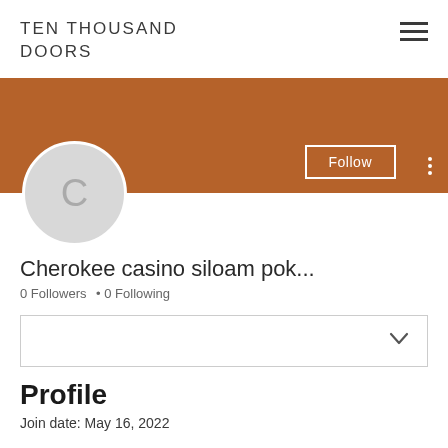TEN THOUSAND DOORS
[Figure (screenshot): User profile banner with brown/rust colored background, Follow button with white border, and three vertical dots menu icon]
[Figure (illustration): Circular avatar with gray background and letter C in center]
Cherokee casino siloam pok...
0 Followers • 0 Following
[Figure (screenshot): Dropdown selector box with chevron down arrow]
Profile
Join date: May 16, 2022